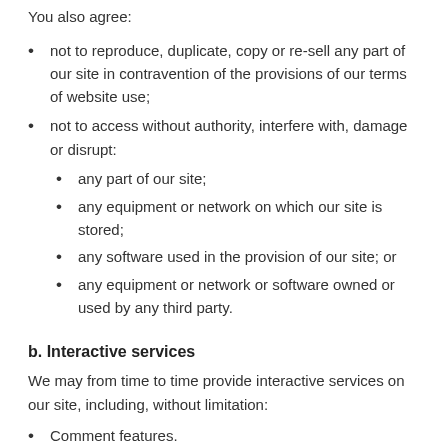You also agree:
not to reproduce, duplicate, copy or re-sell any part of our site in contravention of the provisions of our terms of website use;
not to access without authority, interfere with, damage or disrupt:
any part of our site;
any equipment or network on which our site is stored;
any software used in the provision of our site; or
any equipment or network or software owned or used by any third party.
b. Interactive services
We may from time to time provide interactive services on our site, including, without limitation:
Comment features.